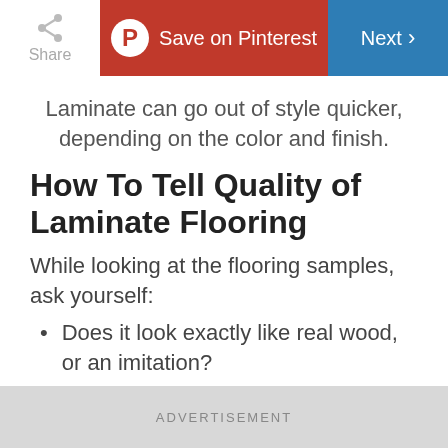Share | Save on Pinterest | Next
Laminate can go out of style quicker, depending on the color and finish.
How To Tell Quality of Laminate Flooring
While looking at the flooring samples, ask yourself:
Does it look exactly like real wood, or an imitation?
Does it have a natural variety of
ADVERTISEMENT